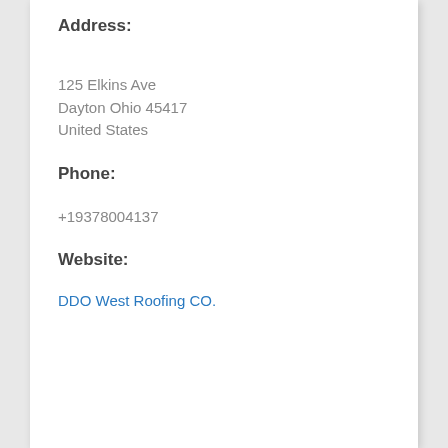Address:
125 Elkins Ave
Dayton Ohio 45417
United States
Phone:
+19378004137
Website:
DDO West Roofing CO.